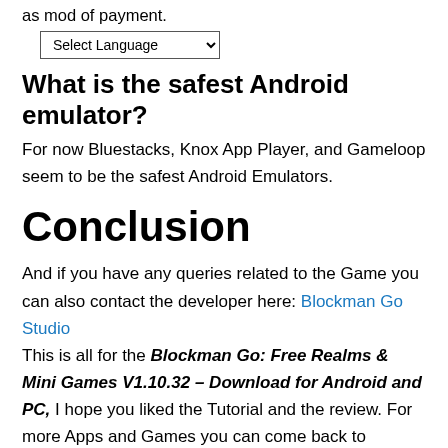as mod of payment.
Select Language (dropdown)
What is the safest Android emulator?
For now Bluestacks, Knox App Player, and Gameloop seem to be the safest Android Emulators.
Conclusion
And if you have any queries related to the Game you can also contact the developer here: Blockman Go Studio This is all for the Blockman Go: Free Realms & Mini Games V1.10.32 – Download for Android and PC, I hope you liked the Tutorial and the review. For more Apps and Games you can come back to PCForecaster and if you have any queries you can leave them in the comments section below.